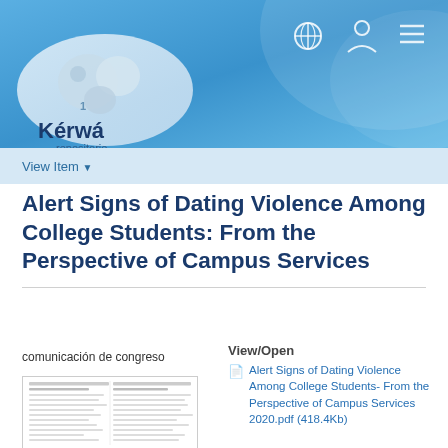[Figure (logo): Kérwá repositorio logo on blue gradient header background with navigation icons (globe, user, hamburger menu)]
View Item ▾
Alert Signs of Dating Violence Among College Students: From the Perspective of Campus Services
comunicación de congreso
View/Open
Alert Signs of Dating Violence Among College Students- From the Perspective of Campus Services 2020.pdf (418.4Kb)
[Figure (screenshot): Thumbnail preview of a PDF document page showing the paper content]